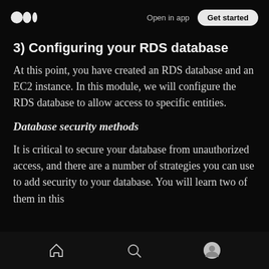Open in app | Get started
3) Configuring your RDS database
At this point, you have created an RDS database and an EC2 instance. In this module, we will configure the RDS database to allow access to specific entities.
Database security methods
It is critical to secure your database from unauthorized access, and there are a number of strategies you can use to add security to your database. You will learn two of them in this
Home | Search | Profile